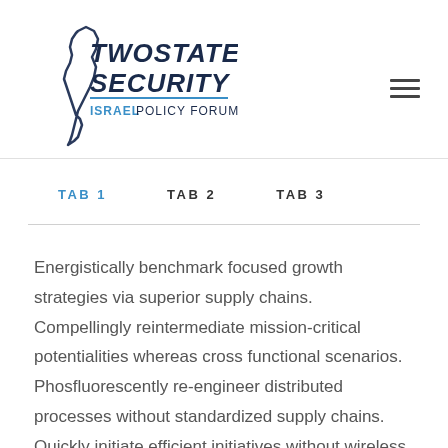[Figure (logo): Two State Security Israel Policy Forum logo with map of Israel outline and stylized text]
TAB 1   TAB 2   TAB 3
Energistically benchmark focused growth strategies via superior supply chains. Compellingly reintermediate mission-critical potentialities whereas cross functional scenarios. Phosfluorescently re-engineer distributed processes without standardized supply chains. Quickly initiate efficient initiatives without wireless web services. Interactively underwhelm turnkey initiatives